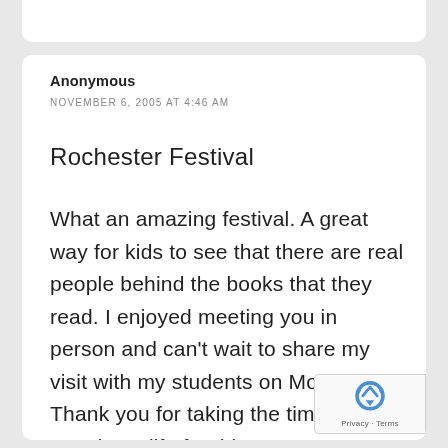Anonymous
NOVEMBER 6, 2005 AT 4:46 AM
Rochester Festival
What an amazing festival. A great way for kids to see that there are real people behind the books that they read. I enjoyed meeting you in person and can't wait to share my visit with my students on Monday. Thank you for taking the time out of your busy life for this event.